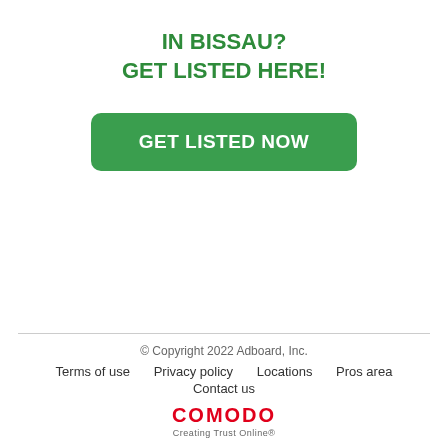IN BISSAU?
GET LISTED HERE!
[Figure (other): Green rounded button with white bold text reading GET LISTED NOW]
© Copyright 2022 Adboard, Inc.
Terms of use   Privacy policy   Locations   Pros area
Contact us
COMODO Creating Trust Online®